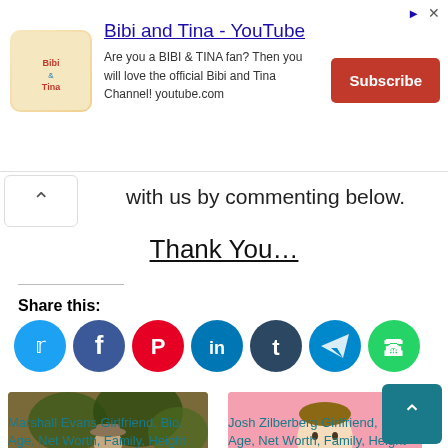[Figure (screenshot): Advertisement banner for Bibi and Tina YouTube channel with logo, text, and Subscribe button]
with us by commenting below.
Thank You…
Share this:
[Figure (infographic): Social share icons: Twitter, Facebook, Pinterest, LinkedIn, Tumblr, Telegram, WhatsApp]
[Figure (photo): Photo of Marshall Evans sitting outdoors in a forest]
Marshall Evans Girlfriend, Bio, Age, Net Worth, Family, Height and Much More
[Figure (photo): Photo of Josh Zilberberg against pink background]
Josh Zilberberg Girlfriend, Bio, Age, Net Worth, Family, Height and Much More